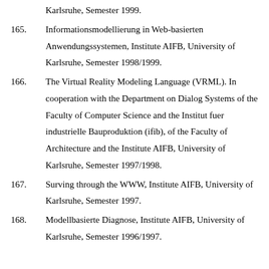Karlsruhe, Semester 1999.
165. Informationsmodellierung in Web-basierten Anwendungssystemen, Institute AIFB, University of Karlsruhe, Semester 1998/1999.
166. The Virtual Reality Modeling Language (VRML). In cooperation with the Department on Dialog Systems of the Faculty of Computer Science and the Institut fuer industrielle Bauproduktion (ifib), of the Faculty of Architecture and the Institute AIFB, University of Karlsruhe, Semester 1997/1998.
167. Surving through the WWW, Institute AIFB, University of Karlsruhe, Semester 1997.
168. Modellbasierte Diagnose, Institute AIFB, University of Karlsruhe, Semester 1996/1997.